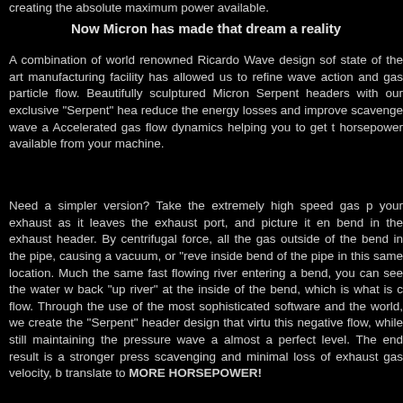creating the absolute maximum power available.
Now Micron has made that dream a reality
A combination of world renowned Ricardo Wave design software and state of the art manufacturing facility has allowed us to refine pressure wave action and gas particle flow. Beautifully sculptured mandrel bent Micron Serpent headers with our exclusive "Serpent" header design reduce the energy losses and improve scavenge wave action. Accelerated gas flow dynamics helping you to get the absolute horsepower available from your machine.
Need a simpler version? Take the extremely high speed gas passing through your exhaust as it leaves the exhaust port, and picture it entering a bend in the exhaust header. By centrifugal force, all the gas is pushed outside of the bend in the pipe, causing a vacuum, or "reverse" flow at the inside bend of the pipe in this same location. Much the same as with a fast flowing river entering a bend, you can see the water will actually flow back "up river" at the inside of the bend, which is what is called negative flow. Through the use of the most sophisticated software and machinery in the world, we create the "Serpent" header design that virtually eliminates this negative flow, while still maintaining the pressure wave action at almost a perfect level. The end result is a stronger pressure wave, better scavenging and minimal loss of exhaust gas velocity, both of which translate to MORE HORSEPOWER!